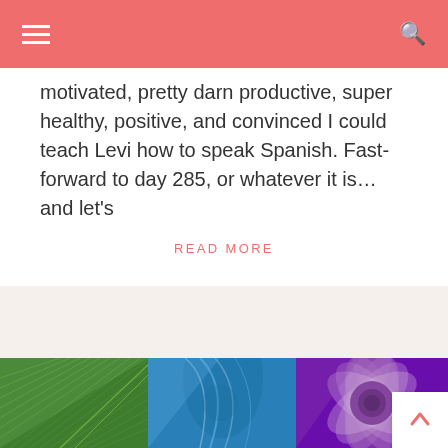Navigation header with hamburger menu and search icon
motivated, pretty darn productive, super healthy, positive, and convinced I could teach Levi how to speak Spanish. Fast-forward to day 285, or whatever it is…and let's
READ MORE
[Figure (photo): Collage of nature photos: green palm leaf, blue feather, purple dahlia flower, white plumeria flowers, colorful abstract, red fabric with dark elements]
[Figure (other): Back to top arrow button in bottom right corner]